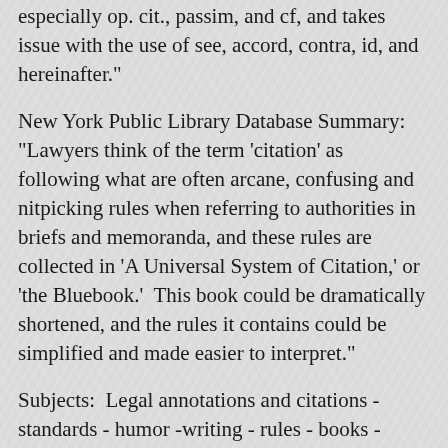especially op. cit., passim, and cf, and takes issue with the use of see, accord, contra, id, and hereinafter."
New York Public Library Database Summary: "Lawyers think of the term 'citation' as following what are often arcane, confusing and nitpicking rules when referring to authorities in briefs and memoranda, and these rules are collected in 'A Universal System of Citation,' or 'the Bluebook.'  This book could be dramatically shortened, and the rules it contains could be simplified and made easier to interpret."
Subjects:  Legal annotations and citations - standards - humor -writing - rules - books - attorneys